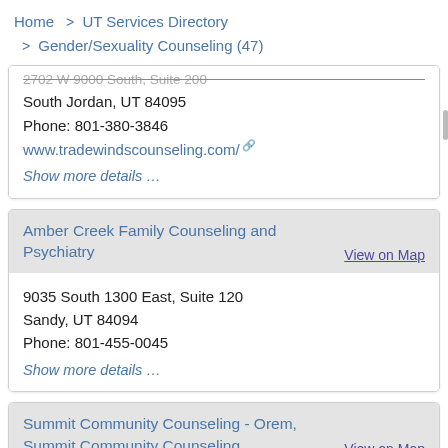Home > UT Services Directory > Gender/Sexuality Counseling (47)
[partial address line - clipped] South Jordan, UT 84095
Phone: 801-380-3846
www.tradewindscounseling.com/
Show more details...
Amber Creek Family Counseling and Psychiatry
9035 South 1300 East, Suite 120
Sandy, UT 84094
Phone: 801-455-0045
Show more details...
Summit Community Counseling - Orem, Summit Community Counseling